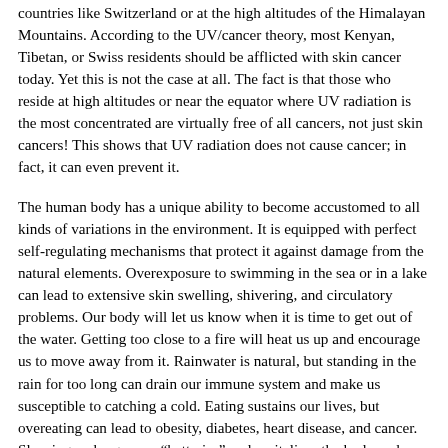countries like Switzerland or at the high altitudes of the Himalayan Mountains. According to the UV/cancer theory, most Kenyan, Tibetan, or Swiss residents should be afflicted with skin cancer today. Yet this is not the case at all. The fact is that those who reside at high altitudes or near the equator where UV radiation is the most concentrated are virtually free of all cancers, not just skin cancers! This shows that UV radiation does not cause cancer; in fact, it can even prevent it.
The human body has a unique ability to become accustomed to all kinds of variations in the environment. It is equipped with perfect self-regulating mechanisms that protect it against damage from the natural elements. Overexposure to swimming in the sea or in a lake can lead to extensive skin swelling, shivering, and circulatory problems. Our body will let us know when it is time to get out of the water. Getting too close to a fire will heat us up and encourage us to move away from it. Rainwater is natural, but standing in the rain for too long can drain our immune system and make us susceptible to catching a cold. Eating sustains our lives, but overeating can lead to obesity, diabetes, heart disease, and cancer. Sleeping recharges our “batteries” and revitalizes the body and mind, yet too much of it makes us sluggish, depressed, and ill. Likewise, sunlight has healing properties unless we use it to burn holes into our skin. Why should any of these natural elements or processes cause us harm unless we abuse or overuse them?